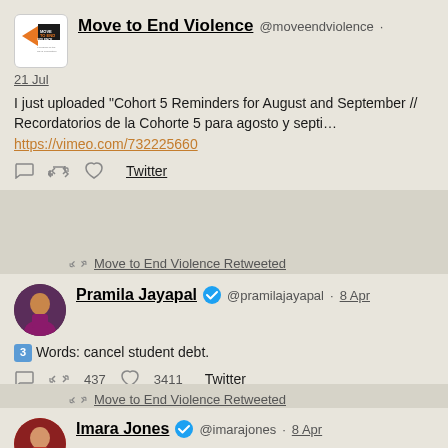[Figure (screenshot): Twitter/social media feed screenshot showing three tweets from Move to End Violence, Pramila Jayapal retweeted by Move to End Violence, and Imara Jones retweeted by Move to End Violence]
Move to End Violence @moveendviolence · 21 Jul
I just uploaded "Cohort 5 Reminders for August and September // Recordatorios de la Cohorte 5 para agosto y septi... https://vimeo.com/732225660
Move to End Violence Retweeted
Pramila Jayapal @pramilajayapal · 8 Apr
3 Words: cancel student debt.
Move to End Violence Retweeted
Imara Jones @imarajones · 8 Apr
Black Maternal Health Week 2022 #BMHW22 is a week of awareness, activism, and community-building intended to